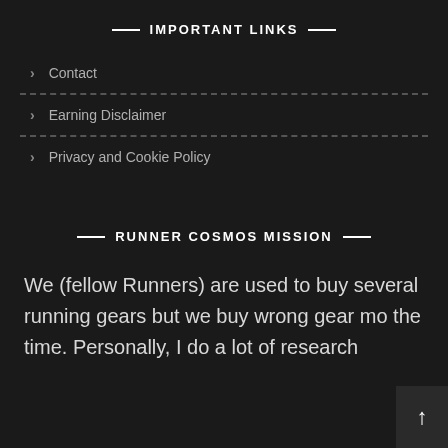IMPORTANT LINKS
Contact
Earning Disclaimer
Privacy and Cookie Policy
RUNNER COSMOS MISSION
We (fellow Runners) are used to buy several running gears but we buy wrong gear mo the time. Personally, I do a lot of research